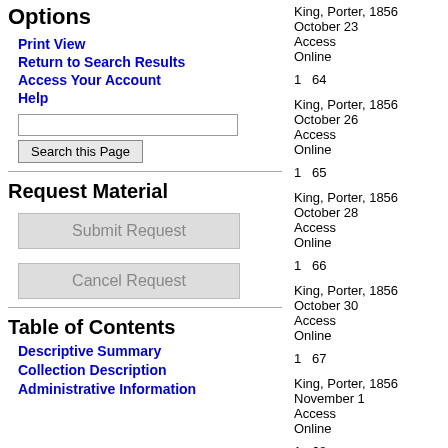Options
Print View
Return to Search Results
Access Your Account
Help
Request Material
Submit Request
Cancel Request
Table of Contents
Descriptive Summary
Collection Description
Administrative Information
King, Porter, 1856
October 23
Access Online
1  64
King, Porter, 1856
October 26
Access Online
1  65
King, Porter, 1856
October 28
Access Online
1  66
King, Porter, 1856
October 30
Access Online
1  67
King, Porter, 1856
November 1
Access Online
1  68